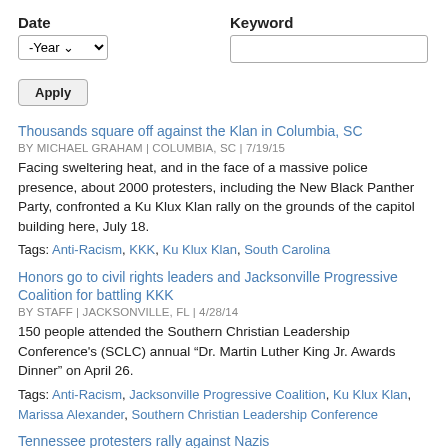Date
Keyword
-Year (dropdown)
Apply (button)
Thousands square off against the Klan in Columbia, SC
BY MICHAEL GRAHAM | COLUMBIA, SC | 7/19/15
Facing sweltering heat, and in the face of a massive police presence, about 2000 protesters, including the New Black Panther Party, confronted a Ku Klux Klan rally on the grounds of the capitol building here, July 18.
Tags: Anti-Racism, KKK, Ku Klux Klan, South Carolina
Honors go to civil rights leaders and Jacksonville Progressive Coalition for battling KKK
BY STAFF | JACKSONVILLE, FL | 4/28/14
150 people attended the Southern Christian Leadership Conference's (SCLC) annual “Dr. Martin Luther King Jr. Awards Dinner” on April 26.
Tags: Anti-Racism, Jacksonville Progressive Coalition, Ku Klux Klan, Marissa Alexander, Southern Christian Leadership Conference
Tennessee protesters rally against Nazis
BY PRESTON GILMORE | DICKSON, TN | 4/28/14